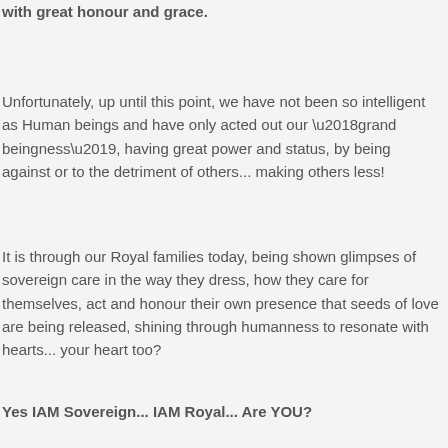with great honour and grace.
Unfortunately, up until this point, we have not been so intelligent as Human beings and have only acted out our ‘grand beingness’, having great power and status, by being against or to the detriment of others... making others less!
It is through our Royal families today, being shown glimpses of sovereign care in the way they dress, how they care for themselves, act and honour their own presence that seeds of love are being released, shining through humanness to resonate with hearts... your heart too?
Yes IAM Sovereign... IAM Royal... Are YOU?